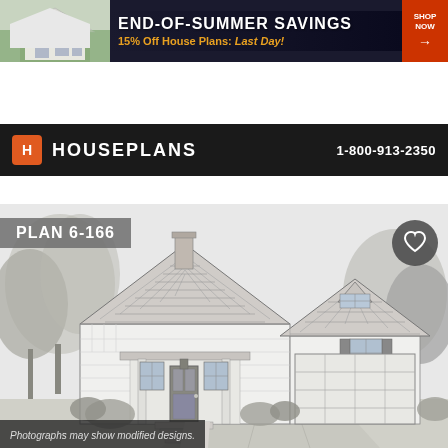[Figure (photo): Banner advertisement: END-OF-SUMMER SAVINGS 15% Off House Plans: Last Day! with house photo on left and SHOP NOW button on right]
HOUSEPLANS  1-800-913-2350
≡  REGISTER  LOGIN  SAVED ♥  CART
ENDS TONIGHT: 15% OFF
[Figure (illustration): Architectural front elevation drawing of a two-story craftsman/cottage style house (Plan 6-166) with steep gabled roof with shingles, dormer window, covered front porch, attached garage, surrounded by trees and landscaping. Black and white pencil/ink drawing style.]
PLAN 6-166
Photographs may show modified designs.